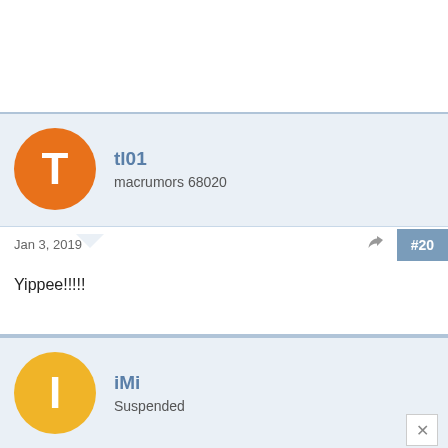[Figure (screenshot): Forum post by user tl01 (macrumors 68020) dated Jan 3, 2019, post #20, content: Yippee!!!!!]
[Figure (screenshot): Forum post by user iMi (Suspended) dated Jan 3, 2019, partially visible]